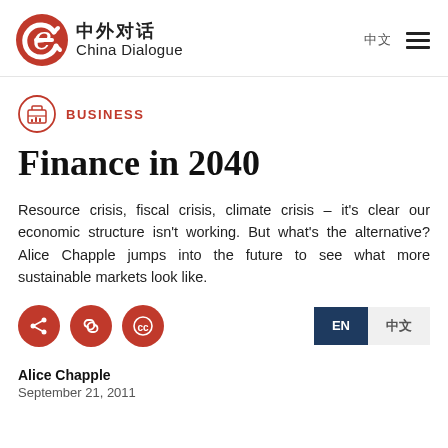中外对话 China Dialogue
BUSINESS
Finance in 2040
Resource crisis, fiscal crisis, climate crisis – it's clear our economic structure isn't working. But what's the alternative? Alice Chapple jumps into the future to see what more sustainable markets look like.
Alice Chapple
September 21, 2011